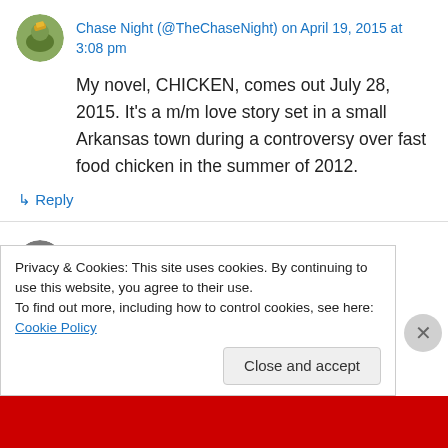Chase Night (@TheChaseNight) on April 19, 2015 at 3:08 pm
My novel, CHICKEN, comes out July 28, 2015. It's a m/m love story set in a small Arkansas town during a controversy over fast food chicken in the summer of 2012.
↳ Reply
Julia Ember (@jules_chronicle) on April 19, 2015 at
Privacy & Cookies: This site uses cookies. By continuing to use this website, you agree to their use.
To find out more, including how to control cookies, see here: Cookie Policy
Close and accept